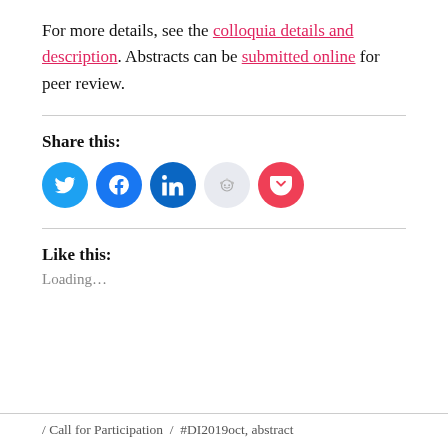For more details, see the colloquia details and description. Abstracts can be submitted online for peer review.
Share this:
[Figure (other): Row of social sharing icon buttons: Twitter (blue), Facebook (blue), LinkedIn (dark blue), Reddit (light blue/grey), Pocket (red)]
Like this:
Loading...
/ Call for Participation / #DI2019oct, abstract